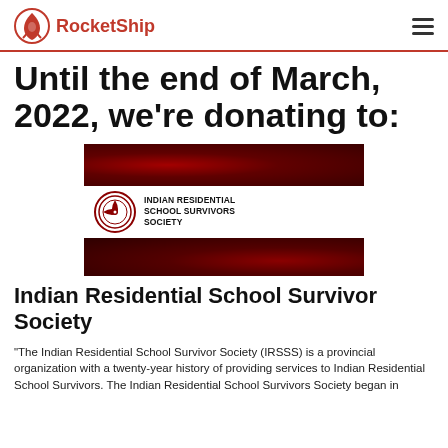RocketShip
Until the end of March, 2022, we're donating to:
[Figure (photo): Indian Residential School Survivors Society logo banner with red-toned photographic imagery above and below the logo, showing the IRSS Society circular emblem and text 'INDIAN RESIDENTIAL SCHOOL SURVIVORS SOCIETY']
Indian Residential School Survivor Society
"The Indian Residential School Survivor Society (IRSSS) is a provincial organization with a twenty-year history of providing services to Indian Residential School Survivors. The Indian Residential School Survivors Society began in